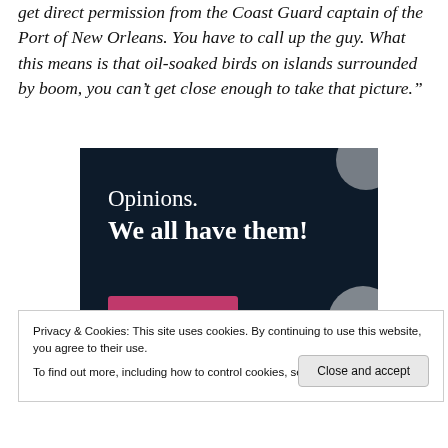get direct permission from the Coast Guard captain of the Port of New Orleans. You have to call up the guy. What this means is that oil-soaked birds on islands surrounded by boom, you can't get close enough to take that picture."
[Figure (other): Advertisement banner with dark navy background. Text reads 'Opinions. We all have them!' with a pink button at the bottom and decorative circles.]
Privacy & Cookies: This site uses cookies. By continuing to use this website, you agree to their use.
To find out more, including how to control cookies, see here: Cookie Policy